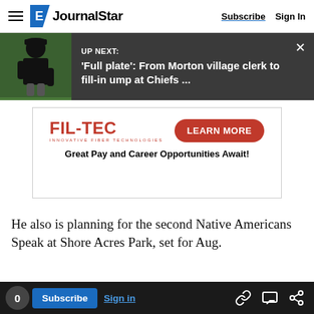JournalStar | Subscribe | Sign In
[Figure (screenshot): Up Next banner with umpire photo: 'Full plate': From Morton village clerk to fill-in ump at Chiefs ...]
[Figure (infographic): FIL-TEC advertisement with LEARN MORE button. Text: 'Great Pay and Career Opportunities Await!']
He also is planning for the second Native Americans Speak at Shore Acres Park, set for Aug.
0 Subscribe Sign in